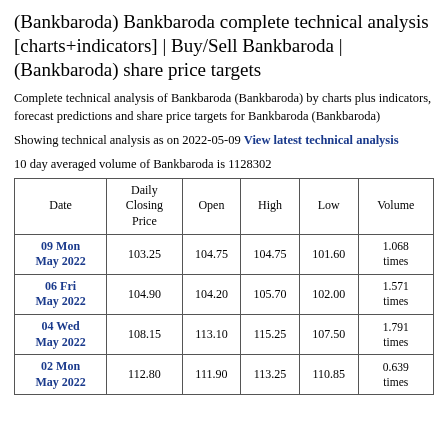(Bankbaroda) Bankbaroda complete technical analysis [charts+indicators] | Buy/Sell Bankbaroda | (Bankbaroda) share price targets
Complete technical analysis of Bankbaroda (Bankbaroda) by charts plus indicators, forecast predictions and share price targets for Bankbaroda (Bankbaroda)
Showing technical analysis as on 2022-05-09 View latest technical analysis
10 day averaged volume of Bankbaroda is 1128302
| Date | Daily Closing Price | Open | High | Low | Volume |
| --- | --- | --- | --- | --- | --- |
| 09 Mon May 2022 | 103.25 | 104.75 | 104.75 | 101.60 | 1.068 times |
| 06 Fri May 2022 | 104.90 | 104.20 | 105.70 | 102.00 | 1.571 times |
| 04 Wed May 2022 | 108.15 | 113.10 | 115.25 | 107.50 | 1.791 times |
| 02 Mon May 2022 | 112.80 | 111.90 | 113.25 | 110.85 | 0.639 times |